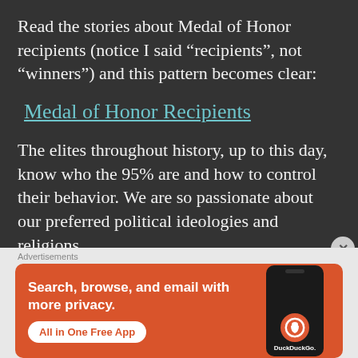Read the stories about Medal of Honor recipients (notice I said “recipients”, not “winners”) and this pattern becomes clear:
Medal of Honor Recipients
The elites throughout history, up to this day, know who the 95% are and how to control their behavior. We are so passionate about our preferred political ideologies and religions.
[Figure (screenshot): DuckDuckGo advertisement banner with orange background. Text reads: Search, browse, and email with more privacy. All in One Free App. Shows a smartphone with DuckDuckGo logo.]